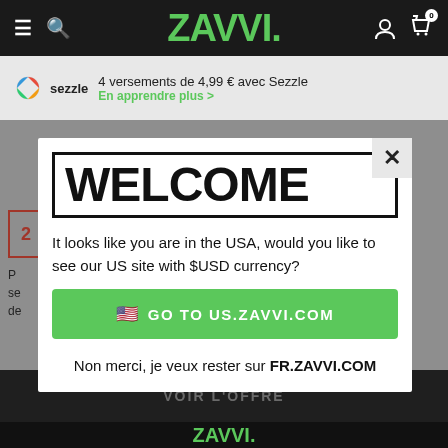ZAVVI
4 versements de 4,99 € avec Sezzle
En apprendre plus >
WELCOME
It looks like you are in the USA, would you like to see our US site with $USD currency?
🇺🇸 GO TO US.ZAVVI.COM
Non merci, je veux rester sur FR.ZAVVI.COM
VOIR L'OFFRE
ZAVVI